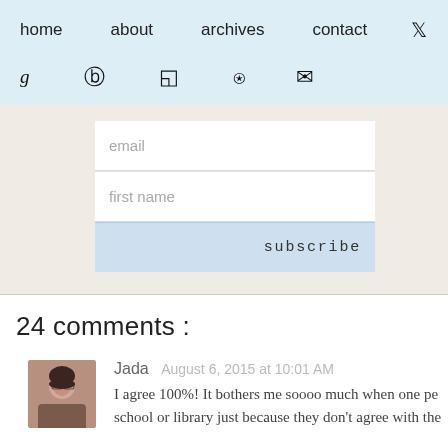home   about   archives   contact   [twitter] [heart]
g   [pinterest]   [instagram]   [rss]   [email]
email
first name
subscribe
24 comments :
Jada   August 6, 2015 at 10:01 AM
I agree 100%! It bothers me soooo much when one pe school or library just because they don't agree with the